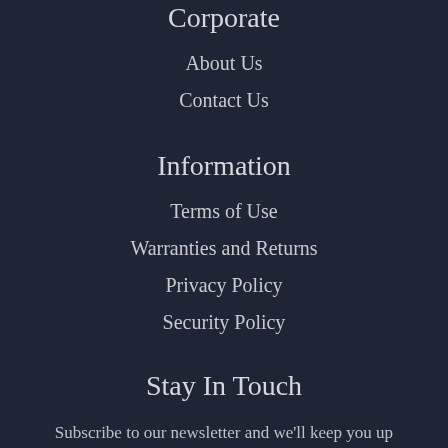Corporate
About Us
Contact Us
Information
Terms of Use
Warranties and Returns
Privacy Policy
Security Policy
Stay In Touch
Subscribe to our newsletter and we'll keep you up to date on our products and services.